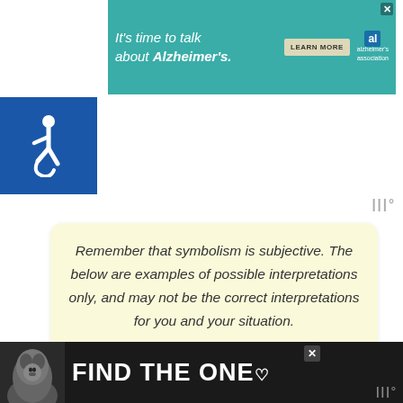[Figure (other): Alzheimer's Association advertisement banner with teal background. Text reads: It's time to talk about Alzheimer's. With a LEARN MORE button and Alzheimer's association logo.]
[Figure (other): Blue square with white wheelchair accessibility icon.]
Remember that symbolism is subjective. The below are examples of possible interpretations only, and may not be the correct interpretations for you and your situation.
Contents [ show ]
[Figure (other): Bottom advertisement banner with dark background showing a dog image and text FIND THE ONE with a close button.]